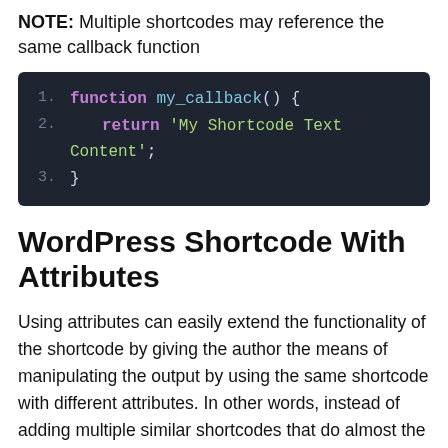NOTE: Multiple shortcodes may reference the same callback function
[Figure (screenshot): Dark-themed code block showing a PHP function named my_callback() that returns 'My Shortcode Text Content'; with line numbers 1, 2, 3.]
WordPress Shortcode With Attributes
Using attributes can easily extend the functionality of the shortcode by giving the author the means of manipulating the output by using the same shortcode with different attributes. In other words, instead of adding multiple similar shortcodes that do almost the same thing, you can have only one shortcode with attributes.